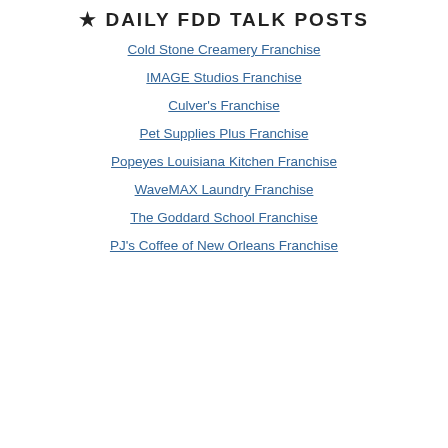★ Daily FDD Talk Posts
Cold Stone Creamery Franchise
IMAGE Studios Franchise
Culver's Franchise
Pet Supplies Plus Franchise
Popeyes Louisiana Kitchen Franchise
WaveMAX Laundry Franchise
The Goddard School Franchise
PJ's Coffee of New Orleans Franchise